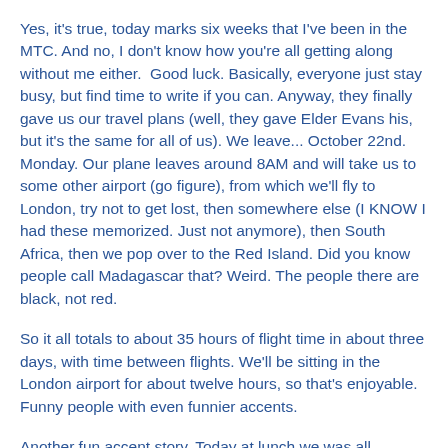Yes, it's true, today marks six weeks that I've been in the MTC. And no, I don't know how you're all getting along without me either.  Good luck. Basically, everyone just stay busy, but find time to write if you can. Anyway, they finally gave us our travel plans (well, they gave Elder Evans his, but it's the same for all of us). We leave... October 22nd. Monday. Our plane leaves around 8AM and will take us to some other airport (go figure), from which we'll fly to London, try not to get lost, then somewhere else (I KNOW I had these memorized. Just not anymore), then South Africa, then we pop over to the Red Island. Did you know people call Madagascar that? Weird. The people there are black, not red.
So it all totals to about 35 hours of flight time in about three days, with time between flights. We'll be sitting in the London airport for about twelve hours, so that's enjoyable. Funny people with even funnier accents.
Another fun accent story. Today at lunch we was all chillaxin' all cool, when five elders walk up and sit down next to us. It's their first day here, and apparently three were from England,